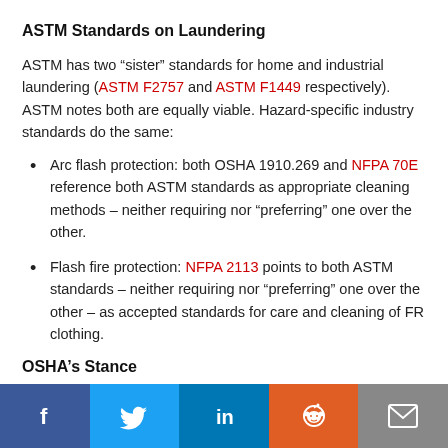ASTM Standards on Laundering
ASTM has two “sister” standards for home and industrial laundering (ASTM F2757 and ASTM F1449 respectively). ASTM notes both are equally viable. Hazard-specific industry standards do the same:
Arc flash protection: both OSHA 1910.269 and NFPA 70E reference both ASTM standards as appropriate cleaning methods – neither requiring nor “preferring” one over the other.
Flash fire protection: NFPA 2113 points to both ASTM standards – neither requiring nor “preferring” one over the other – as accepted standards for care and cleaning of FR clothing.
OSHA’s Stance
Here in the USA, OSHA views direct purchase programs leveraging home laundering and rental programs that employ industrial laundry service as equivalent, neither